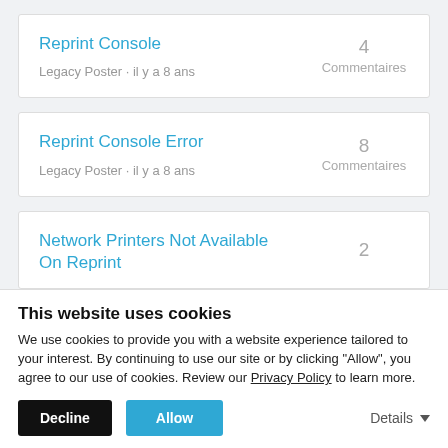Reprint Console
Legacy Poster · il y a 8 ans
4
Commentaires
Reprint Console Error
Legacy Poster · il y a 8 ans
8
Commentaires
Network Printers Not Available On Reprint
2
This website uses cookies
We use cookies to provide you with a website experience tailored to your interest. By continuing to use our site or by clicking "Allow", you agree to our use of cookies. Review our Privacy Policy to learn more.
Decline
Allow
Details